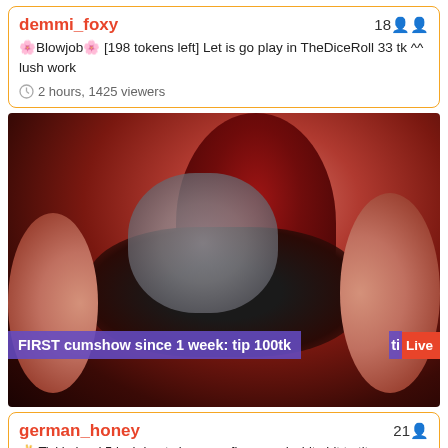demmi_foxy — 18
🎀Blowjob🎀 [198 tokens left] Let is go play in TheDiceRoll 33 tk ^^ lush work
2 hours, 1425 viewers
[Figure (photo): Live stream thumbnail showing a person with red hair, wearing dark clothing, bent over. Overlay text reads: FIRST cumshow since 1 week: tip 100tk. Live badge visible on right.]
german_honey — 21